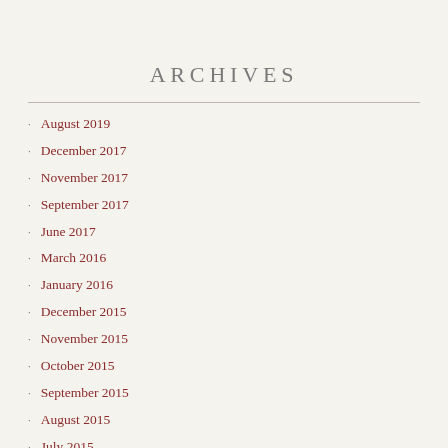ARCHIVES
August 2019
December 2017
November 2017
September 2017
June 2017
March 2016
January 2016
December 2015
November 2015
October 2015
September 2015
August 2015
July 2015